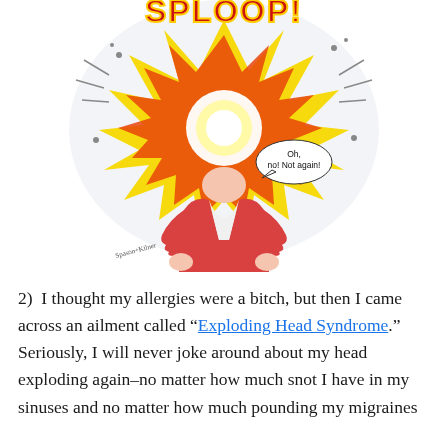[Figure (illustration): Comic cartoon illustration of a person whose head is exploding in a burst of red, yellow and orange. The word 'SPLOOP!' appears at the top in bold red comic letters. A speech bubble near the figure says 'Oh, no! Not again!' The figure is wearing a red jacket and has hands raised in shock.]
2)  I thought my allergies were a bitch, but then I came across an ailment called "Exploding Head Syndrome."  Seriously, I will never joke around about my head exploding again–no matter how much snot I have in my sinuses and no matter how much pounding my migraines